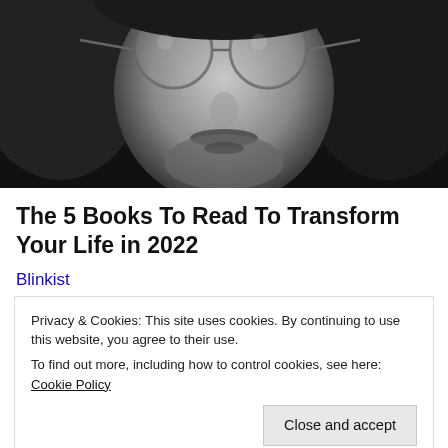[Figure (photo): Black and white close-up photograph of a man with round glasses, beard and mustache, with long dark hair]
The 5 Books To Read To Transform Your Life in 2022
Blinkist
Privacy & Cookies: This site uses cookies. By continuing to use this website, you agree to their use.
To find out more, including how to control cookies, see here: Cookie Policy
Close and accept
[Figure (photo): Strip of colorful thumbnail images along the bottom of the page]